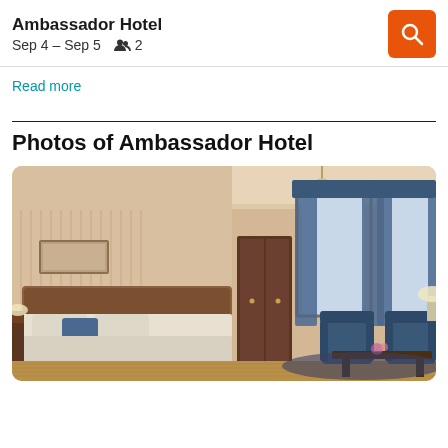Ambassador Hotel
Sep 4 – Sep 5   👥 2
Read more
Photos of Ambassador Hotel
[Figure (photo): Hotel room interior with large bed, crystal chandelier, blue curtains on tall windows, armchairs and coffee table, parquet flooring, warm lighting.]